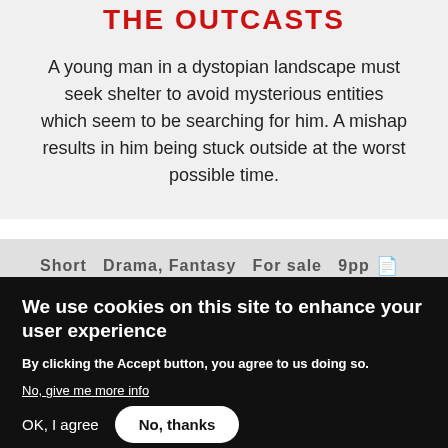THE OUTCASTS
A young man in a dystopian landscape must seek shelter to avoid mysterious entities which seem to be searching for him. A mishap results in him being stuck outside at the worst possible time.
Short  Drama, Fantasy  For sale  9pp 📄
We use cookies on this site to enhance your user experience
By clicking the Accept button, you agree to us doing so.
No, give me more info
OK, I agree
No, thanks